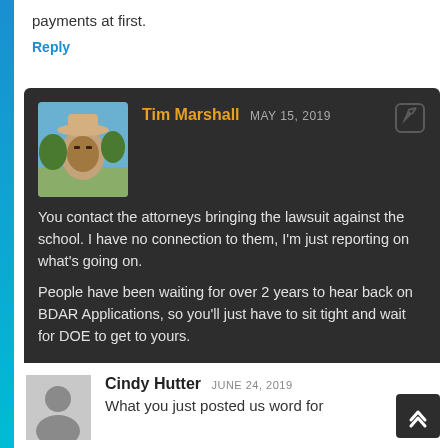payments at first.
Reply
Tim Marshall MAY 15, 2019
You contact the attorneys bringing the lawsuit against the school. I have no connection to them, I'm just reporting on what's going on.
People have been waiting for over 2 years to hear back on BDAR Applications, so you'll just have to sit tight and wait for DOE to get to yours.
Reply
Cindy Hutter JUNE 24, 2019
What you just posted us word for